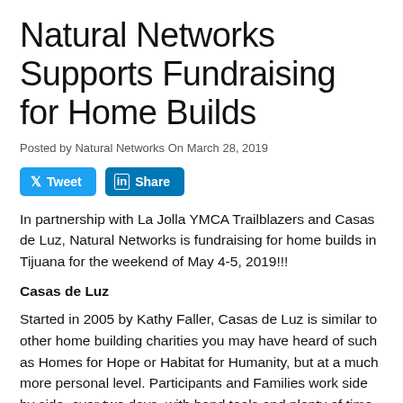Natural Networks Supports Fundraising for Home Builds
Posted by Natural Networks On March 28, 2019
[Figure (other): Social sharing buttons: Tweet (Twitter) and Share (LinkedIn)]
In partnership with La Jolla YMCA Trailblazers and Casas de Luz, Natural Networks is fundraising for home builds in Tijuana for the weekend of May 4-5, 2019!!!
Casas de Luz
Started in 2005 by Kathy Faller, Casas de Luz is similar to other home building charities you may have heard of such as Homes for Hope or Habitat for Humanity, but at a much more personal level. Participants and Families work side by side, over two days, with hand tools and plenty of time to appreciate the fullness of the experience.